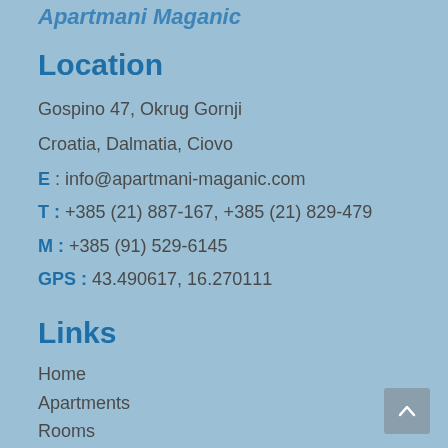Apartmani Maganic
Location
Gospino 47, Okrug Gornji
Croatia, Dalmatia, Ciovo
E : info@apartmani-maganic.com
T : +385 (21) 887-167, +385 (21) 829-479
M : +385 (91) 529-6145
GPS : 43.490617, 16.270111
Links
Home
Apartments
Rooms
Restaurant Acquum